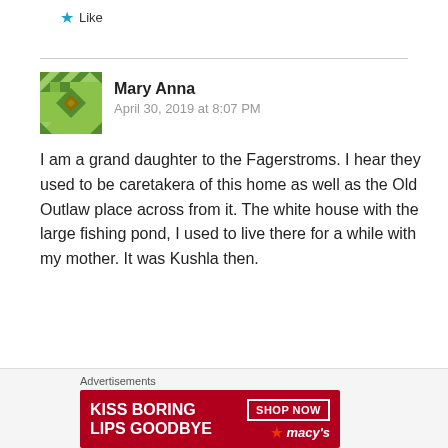Like
Mary Anna
April 30, 2019 at 8:07 PM
I am a grand daughter to the Fagerstroms. I hear they used to be caretakera of this home as well as the Old Outlaw place across from it. The white house with the large fishing pond, I used to live there for a while with my mother. It was Kushla then.
Like
[Figure (infographic): Macy's advertisement banner: KISS BORING LIPS GOODBYE, SHOP NOW, macys star logo, red background with woman's face]